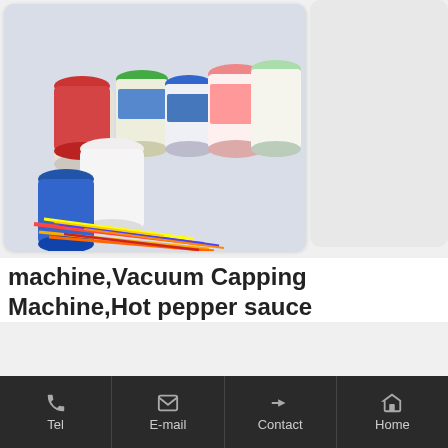[Figure (photo): Product photo showing various colorful yogurt cups with lids and straws arranged together on a light background.]
machine,Vacuum Capping Machine,Hot pepper sauce
Horizontal mixing Sauce Filling machine. Double headed horizontal stirring chili sauce filling machine is the spark company newly developed, designed for thick and with a large concentration of
Tel   E-mail   Contact   Home